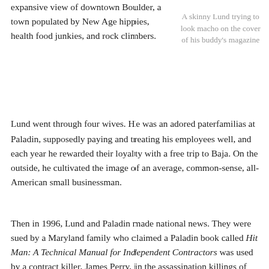expansive view of downtown Boulder, a town populated by New Age hippies, health food junkies, and rock climbers.
A skinny Lund trying to look macho on the cover of his buddy's magazine
Lund went through four wives. He was an adored paterfamilias at Paladin, supposedly paying and treating his employees well, and each year he rewarded their loyalty with a free trip to Baja. On the outside, he cultivated the image of an average, common-sense, all-American small businessman.
Then in 1996, Lund and Paladin made national news. They were sued by a Maryland family who claimed a Paladin book called Hit Man: A Technical Manual for Independent Contractors was used by a contract killer, James Perry, in the assassination killings of three family